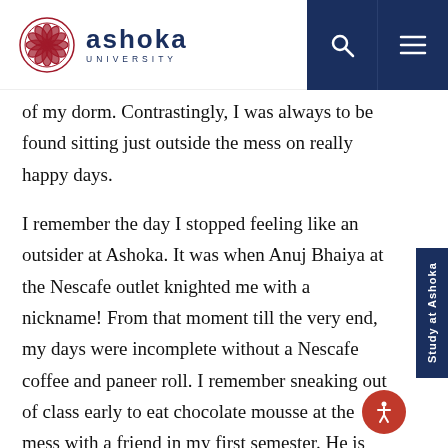Ashoka University
of my dorm. Contrastingly, I was always to be found sitting just outside the mess on really happy days.
I remember the day I stopped feeling like an outsider at Ashoka. It was when Anuj Bhaiya at the Nescafe outlet knighted me with a nickname! From that moment till the very end, my days were incomplete without a Nescafe coffee and paneer roll. I remember sneaking out of class early to eat chocolate mousse at the mess with a friend in my first semester. He is one of my most cherished friends today. Breakfasts became a ritual with another dear friend. Professors became mentors over Monday lunches and coffees. Dhaba chai at 2:30 AM was an unspoken rule after five hours of trying to make sense of matrices. The food spaces on campus have been where most of my romantic